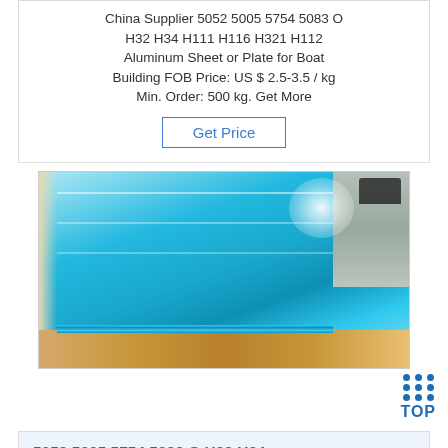China Supplier 5052 5005 5754 5083 O H32 H34 H111 H116 H321 H112 Aluminum Sheet or Plate for Boat Building FOB Price: US $ 2.5-3.5 / kg Min. Order: 500 kg. Get More
Get Price
[Figure (photo): Stacked blue-film-coated aluminum sheets or plates on a wooden pallet, viewed from an angle showing edges and surface reflections.]
5052 5005 5754 5083 O H32 H34...
China 5052 5005 5754 5083 O H32 H34